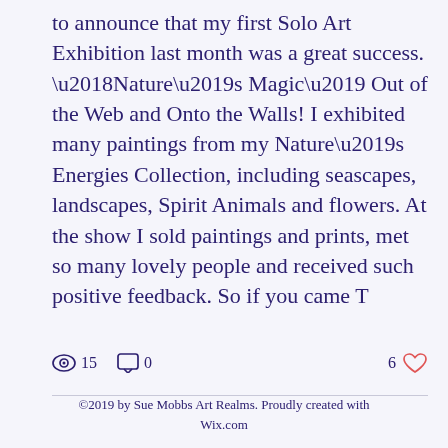to announce that my first Solo Art Exhibition last month was a great success. ‘Nature’s Magic’ Out of the Web and Onto the Walls! I exhibited many paintings from my Nature’s Energies Collection, including seascapes, landscapes, Spirit Animals and flowers. At the show I sold paintings and prints, met so many lovely people and received such positive feedback. So if you came T
15 views  0 comments  6 likes
©2019 by Sue Mobbs Art Realms. Proudly created with Wix.com